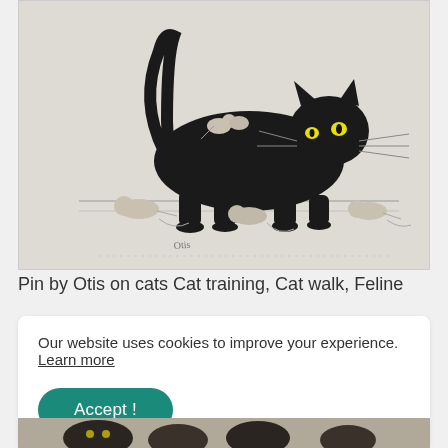[Figure (illustration): Black and white engraving illustration of a black cat walking with mice/rats riding on its back and surrounding it on the ground. The cat has a long curved tail and appears to be striding forward while several rodents interact with it.]
Pin by Otis on cats Cat training, Cat walk, Feline
Our website uses cookies to improve your experience. Learn more
[Figure (illustration): Partial view of another illustration at the bottom of the page, appears to be another cat-related drawing in black and white.]